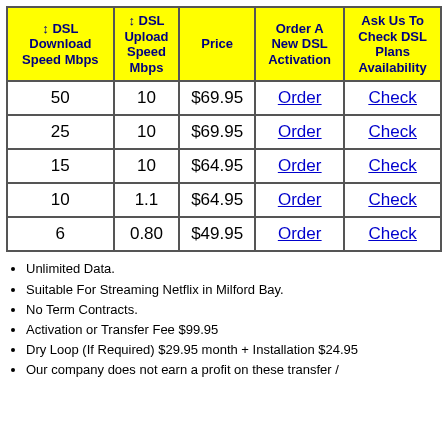| ↕ DSL Download Speed Mbps | ↕ DSL Upload Speed Mbps | Price | Order A New DSL Activation | Ask Us To Check DSL Plans Availability |
| --- | --- | --- | --- | --- |
| 50 | 10 | $69.95 | Order | Check |
| 25 | 10 | $69.95 | Order | Check |
| 15 | 10 | $64.95 | Order | Check |
| 10 | 1.1 | $64.95 | Order | Check |
| 6 | 0.80 | $49.95 | Order | Check |
Unlimited Data.
Suitable For Streaming Netflix in Milford Bay.
No Term Contracts.
Activation or Transfer Fee $99.95
Dry Loop (If Required) $29.95 month + Installation $24.95
Our company does not earn a profit on these transfer /